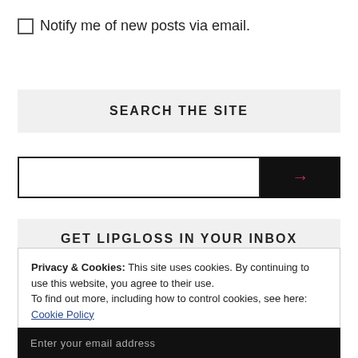Notify me of new posts via email.
SEARCH THE SITE
[Figure (other): Search input bar with text field and black arrow button on the right]
GET LIPGLOSS IN YOUR INBOX
Privacy & Cookies: This site uses cookies. By continuing to use this website, you agree to their use.
To find out more, including how to control cookies, see here: Cookie Policy
Close and accept
Enter your email address